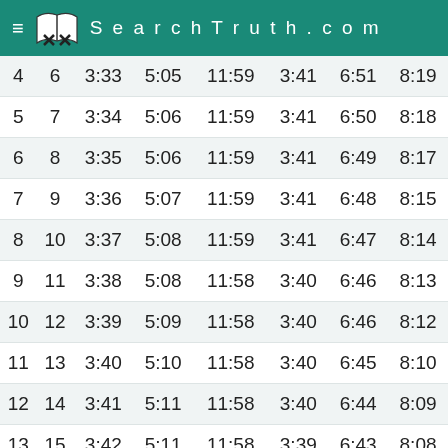SearchTruth.com
| 4 | 6 | 3:33 | 5:05 | 11:59 | 3:41 | 6:51 | 8:19 |
| 5 | 7 | 3:34 | 5:06 | 11:59 | 3:41 | 6:50 | 8:18 |
| 6 | 8 | 3:35 | 5:06 | 11:59 | 3:41 | 6:49 | 8:17 |
| 7 | 9 | 3:36 | 5:07 | 11:59 | 3:41 | 6:48 | 8:15 |
| 8 | 10 | 3:37 | 5:08 | 11:59 | 3:41 | 6:47 | 8:14 |
| 9 | 11 | 3:38 | 5:08 | 11:58 | 3:40 | 6:46 | 8:13 |
| 10 | 12 | 3:39 | 5:09 | 11:58 | 3:40 | 6:46 | 8:12 |
| 11 | 13 | 3:40 | 5:10 | 11:58 | 3:40 | 6:45 | 8:10 |
| 12 | 14 | 3:41 | 5:11 | 11:58 | 3:40 | 6:44 | 8:09 |
| 13 | 15 | 3:42 | 5:11 | 11:58 | 3:39 | 6:43 | 8:08 |
| 14 | 16 | 3:43 | 5:12 | 11:58 | 3:39 | 6:41 | 8:07 |